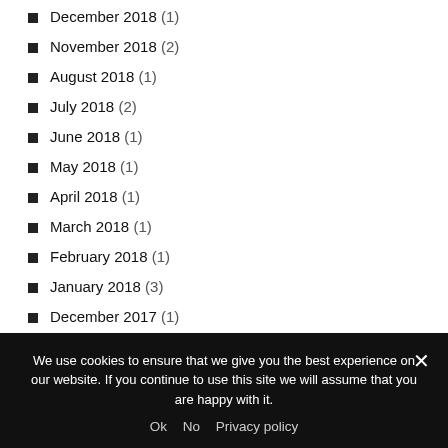December 2018 (1)
November 2018 (2)
August 2018 (1)
July 2018 (2)
June 2018 (1)
May 2018 (1)
April 2018 (1)
March 2018 (1)
February 2018 (1)
January 2018 (3)
December 2017 (1)
October 2017 (2)
September 2017 (2)
August 2017 (1)
We use cookies to ensure that we give you the best experience on our website. If you continue to use this site we will assume that you are happy with it.
Ok   No   Privacy policy